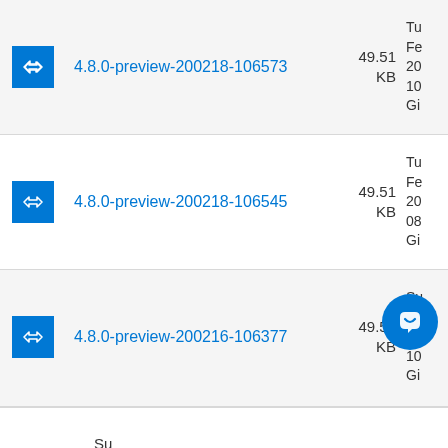4.8.0-preview-200218-106573 49.51 KB Tu Fe 20 10 Gi
4.8.0-preview-200218-106545 49.51 KB Tu Fe 20 08 Gi
4.8.0-preview-200216-106377 49.52 KB Su Fe 20 10 Gi
Su...